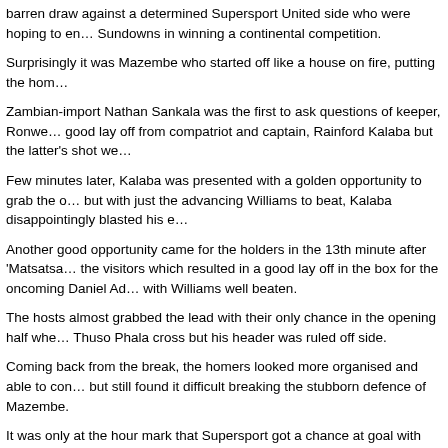barren draw against a determined Supersport United side who were hoping to en… Sundowns in winning a continental competition.
Surprisingly it was Mazembe who started off like a house on fire, putting the hom…
Zambian-import Nathan Sankala was the first to ask questions of keeper, Ronwe… good lay off from compatriot and captain, Rainford Kalaba but the latter's shot we…
Few minutes later, Kalaba was presented with a golden opportunity to grab the o… but with just the advancing Williams to beat, Kalaba disappointingly blasted his e…
Another good opportunity came for the holders in the 13th minute after 'Matsatsa… the visitors which resulted in a good lay off in the box for the oncoming Daniel Ad… with Williams well beaten.
The hosts almost grabbed the lead with their only chance in the opening half whe… Thuso Phala cross but his header was ruled off side.
Coming back from the break, the homers looked more organised and able to con… but still found it difficult breaking the stubborn defence of Mazembe.
It was only at the hour mark that Supersport got a chance at goal with young defe… through ball from Letsholonyane but failed to hit the target.
With the away lead to their advantage, Mazembe opted to be a bit more cautious… catching United on the break.